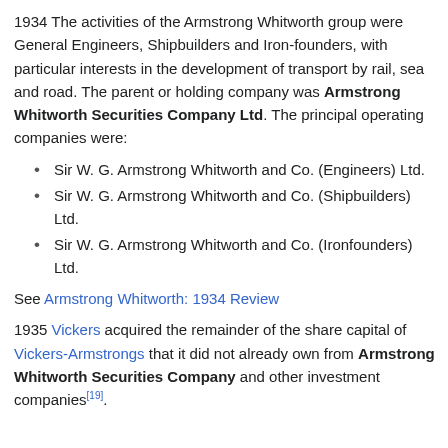1934 The activities of the Armstrong Whitworth group were General Engineers, Shipbuilders and Ironfounders, with particular interests in the development of transport by rail, sea and road. The parent or holding company was Armstrong Whitworth Securities Company Ltd. The principal operating companies were:
Sir W. G. Armstrong Whitworth and Co. (Engineers) Ltd.
Sir W. G. Armstrong Whitworth and Co. (Shipbuilders) Ltd.
Sir W. G. Armstrong Whitworth and Co. (Ironfounders) Ltd.
See Armstrong Whitworth: 1934 Review
1935 Vickers acquired the remainder of the share capital of Vickers-Armstrongs that it did not already own from Armstrong Whitworth Securities Company and other investment companies[19].